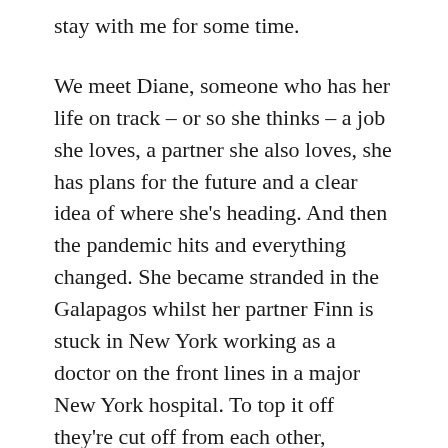stay with me for some time.
We meet Diane, someone who has her life on track – or so she thinks – a job she loves, a partner she also loves, she has plans for the future and a clear idea of where she's heading. And then the pandemic hits and everything changed. She became stranded in the Galapagos whilst her partner Finn is stuck in New York working as a doctor on the front lines in a major New York hospital. To top it off they're cut off from each other, receiving sporadic emails and sending postcards. These opposing worlds summed up the divide we were all facing in some way, with some people fighting on the front lines and the rest of us